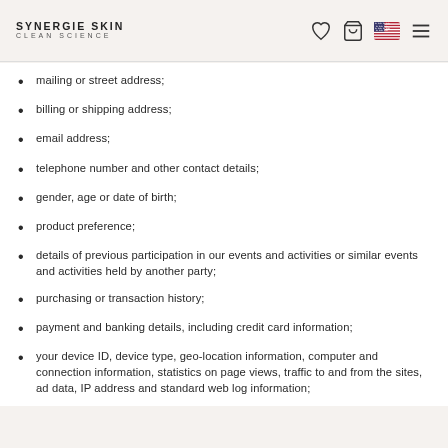SYNERGIE SKIN CLEAN SCIENCE
mailing or street address;
billing or shipping address;
email address;
telephone number and other contact details;
gender, age or date of birth;
product preference;
details of previous participation in our events and activities or similar events and activities held by another party;
purchasing or transaction history;
payment and banking details, including credit card information;
your device ID, device type, geo-location information, computer and connection information, statistics on page views, traffic to and from the sites, ad data, IP address and standard web log information;